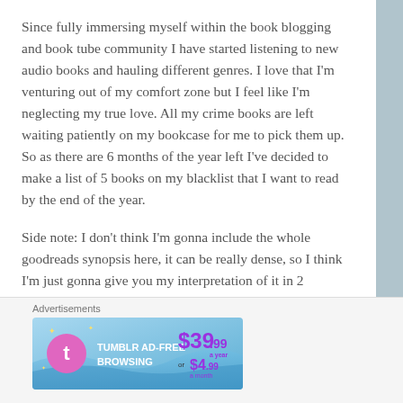Since fully immersing myself within the book blogging and book tube community I have started listening to new audio books and hauling different genres. I love that I'm venturing out of my comfort zone but I feel like I'm neglecting my true love. All my crime books are left waiting patiently on my bookcase for me to pick them up. So as there are 6 months of the year left I've decided to make a list of 5 books on my blacklist that I want to read by the end of the year.
Side note: I don't think I'm gonna include the whole goodreads synopsis here, it can be really dense, so I think I'm just gonna give you my interpretation of it in 2 sentences or less. (This may be a mistake!)
[Figure (infographic): Tumblr Ad-Free Browsing advertisement banner showing $39.99/year or $4.99/month pricing with Tumblr logo]